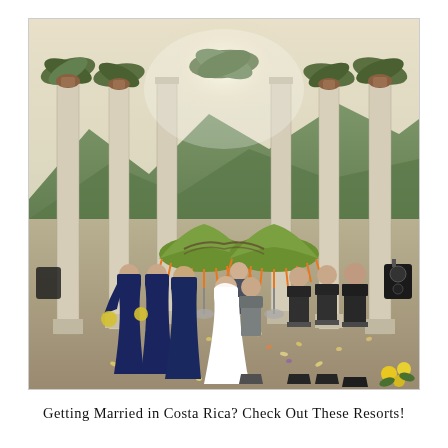[Figure (photo): Outdoor wedding ceremony at a venue with tall classical columns and palm trees. Bride and groom stand at center exchanging vows beneath two large green decorative umbrellas with orange fringe. Bridesmaids in navy blue dresses stand on the left; groomsmen in vests stand on the right. The ground is scattered with flower petals. Lush green mountains are visible in the background under a bright sky.]
Getting Married in Costa Rica? Check Out These Resorts!